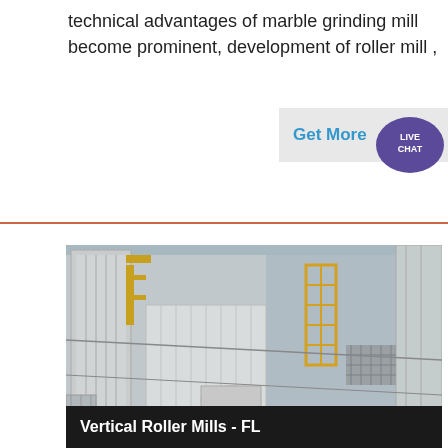technical advantages of marble grinding mill become prominent, development of roller mill ,
[Figure (photo): Aerial/overhead view of a large industrial vertical roller mill facility showing multi-story concrete structures, yellow scaffolding/railings, white ducting and ventilation equipment, piping, and grating platforms]
Vertical Roller Mills - FL